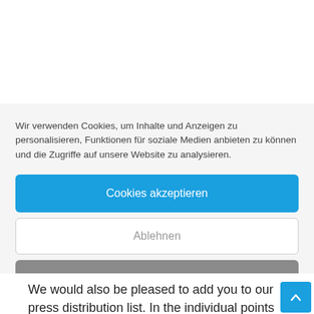Wir verwenden Cookies, um Inhalte und Anzeigen zu personalisieren, Funktionen für soziale Medien anbieten zu können und die Zugriffe auf unsere Website zu analysieren.
Cookies akzeptieren
Ablehnen
Einstellungen anzeigen
Cookie-Richtlinie   Privacy policy   Legal notice
We would also be pleased to add you to our press distribution list. In the individual points we have provided photos, press releases and our own publications for you.